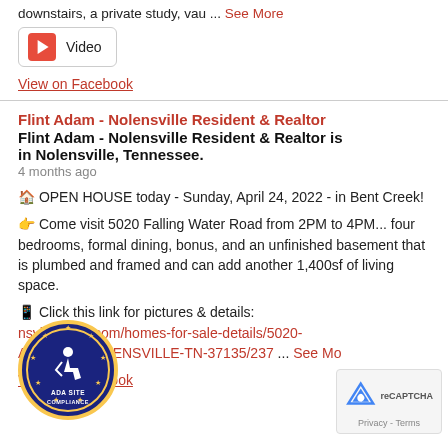downstairs, a private study, vau ... See More
Video
View on Facebook
Flint Adam - Nolensville Resident & Realtor
Flint Adam - Nolensville Resident & Realtor is in Nolensville, Tennessee.
4 months ago
🏠 OPEN HOUSE today - Sunday, April 24, 2022 - in Bent Creek!
👉 Come visit 5020 Falling Water Road from 2PM to 4PM... four bedrooms, formal dining, bonus, and an unfinished basement that is plumbed and framed and can add another 1,400sf of living space.
📱 Click this link for pictures & details:
nsvillerealty.com/homes-for-sale-details/5020-ATER-RD-NOLENSVILLE-TN-37135/237 ... See More
View on Facebook
[Figure (logo): ADA Site Compliance circular badge with wheelchair accessibility symbol]
[Figure (logo): Google reCAPTCHA badge with Privacy - Terms text]